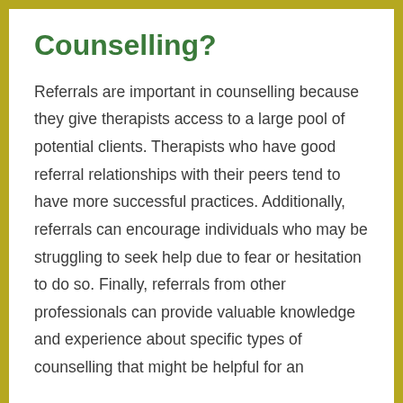Counselling?
Referrals are important in counselling because they give therapists access to a large pool of potential clients. Therapists who have good referral relationships with their peers tend to have more successful practices. Additionally, referrals can encourage individuals who may be struggling to seek help due to fear or hesitation to do so. Finally, referrals from other professionals can provide valuable knowledge and experience about specific types of counselling that might be helpful for an